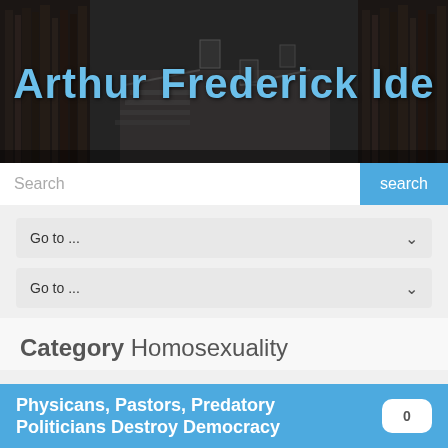[Figure (photo): Black and white photo of a library interior with bookshelves on either side and a staircase in the background, used as a banner header]
Arthur Frederick Ide
Search
Go to ...
Go to ...
Category Homosexuality
Physicans, Pastors, Predatory Politicians Destroy Democracy
0